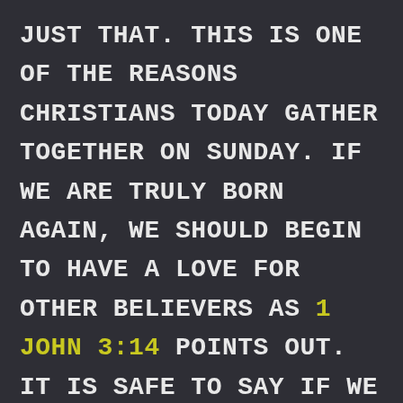just that. This is one of the reasons Christians today gather together on Sunday. If we are truly born again, we should begin to have a love for other believers as 1 John 3:14 points out. It is safe to say if we love other believers, we should want to have relationship with them in some way such as gathering together. However, there is another very important